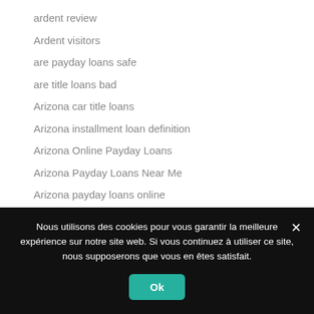ardent review
Ardent visitors
are payday loans safe
are title loans bad
Arizona car title loans
Arizona installment loan definition
Arizona Online Payday Loans
Arizona Payday Loans Near Me
Arizona payday loans online
arizona-tucson-dating sign in
Nous utilisons des cookies pour vous garantir la meilleure expérience sur notre site web. Si vous continuez à utiliser ce site, nous supposerons que vous en êtes satisfait.